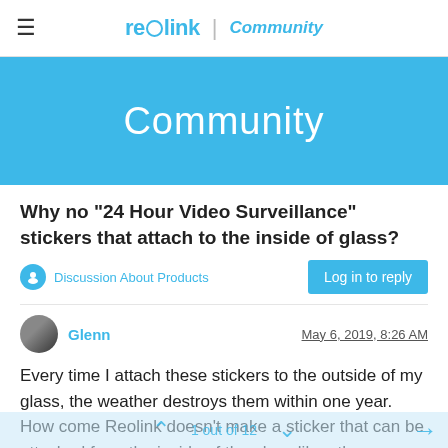reolink | Community
Community
Why no "24 Hour Video Surveillance" stickers that attach to the inside of glass?
Discussion About Products
Glenn   May 6, 2019, 8:26 AM
Every time I attach these stickers to the outside of my glass, the weather destroys them within one year. How come Reolink doesn't make a sticker that can be attached from the inside of the glass like other camera